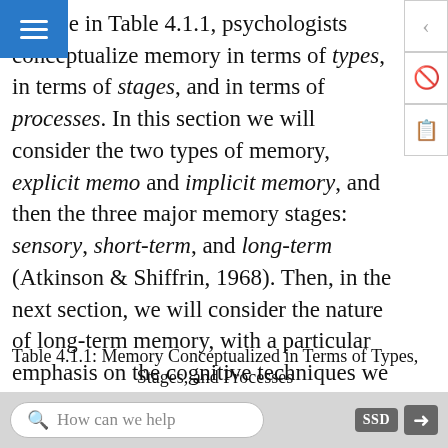can see in Table 4.1.1, psychologists conceptualize memory in terms of types, in terms of stages, and in terms of processes. In this section we will consider the two types of memory, explicit memory and implicit memory, and then the three major memory stages: sensory, short-term, and long-term (Atkinson & Shiffrin, 1968). Then, in the next section, we will consider the nature of long-term memory, with a particular emphasis on the cognitive techniques we can use to improve our memories. Our discussion will focus on the three processes that are central to long-term memory: encoding, storage, and retrieval.
Table 4.1.1: Memory Conceptualized in Terms of Types, Stages, and Processes
| As types |
| --- |